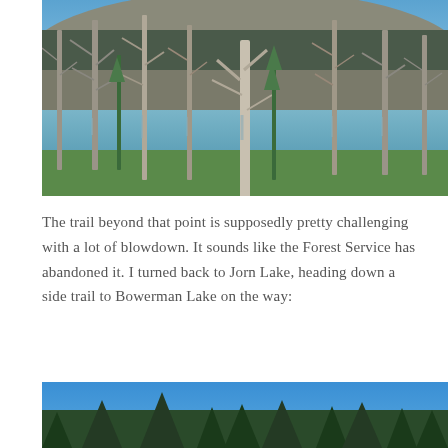[Figure (photo): A scenic lake surrounded by tall dead/bare trees (snags) and some green vegetation, with blue sky above and the trees reflected in the still water.]
The trail beyond that point is supposedly pretty challenging with a lot of blowdown. It sounds like the Forest Service has abandoned it. I turned back to Jorn Lake, heading down a side trail to Bowerman Lake on the way:
[Figure (photo): Bottom portion of a photo showing dark green conifer trees against a bright blue sky, partially cut off at the bottom of the page.]